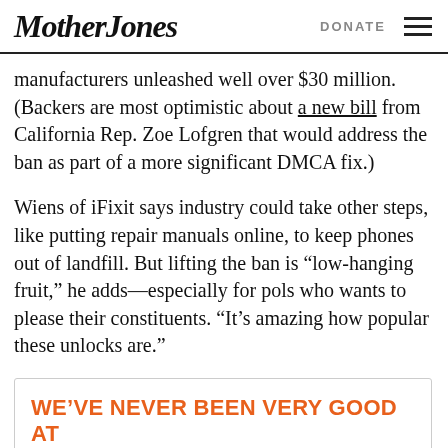Mother Jones   DONATE
manufacturers unleashed well over $30 million. (Backers are most optimistic about a new bill from California Rep. Zoe Lofgren that would address the ban as part of a more significant DMCA fix.)
Wiens of iFixit says industry could take other steps, like putting repair manuals online, to keep phones out of landfill. But lifting the ban is “low-hanging fruit,” he adds—especially for pols who wants to please their constituents. “It’s amazing how popular these unlocks are.”
WE’VE NEVER BEEN VERY GOOD AT BEING CONSERVATIVE.